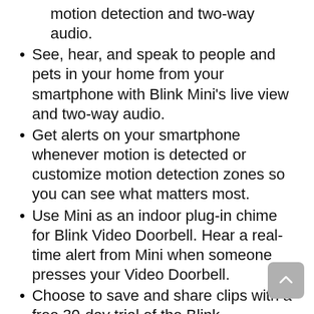motion detection and two-way audio.
See, hear, and speak to people and pets in your home from your smartphone with Blink Mini's live view and two-way audio.
Get alerts on your smartphone whenever motion is detected or customize motion detection zones so you can see what matters most.
Use Mini as an indoor plug-in chime for Blink Video Doorbell. Hear a real-time alert from Mini when someone presses your Video Doorbell.
Choose to save and share clips with a free 30-day trial of the Blink Subscription Plan or locally with the Sync Module 2 (sold separately).